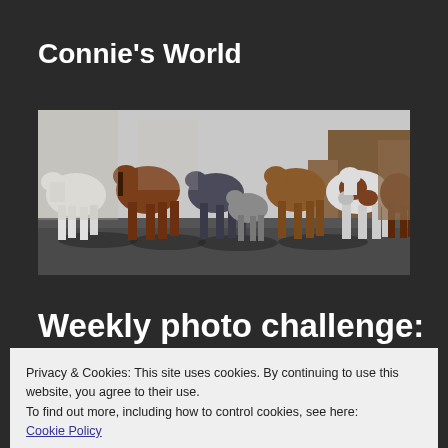Connie's World
[Figure (photo): A group of horses of various colors (white, brown, dark bay, grey) walking along a paved surface, with buildings in the background.]
Weekly photo challenge:
Privacy & Cookies: This site uses cookies. By continuing to use this website, you agree to their use.
To find out more, including how to control cookies, see here: Cookie Policy
Close and accept